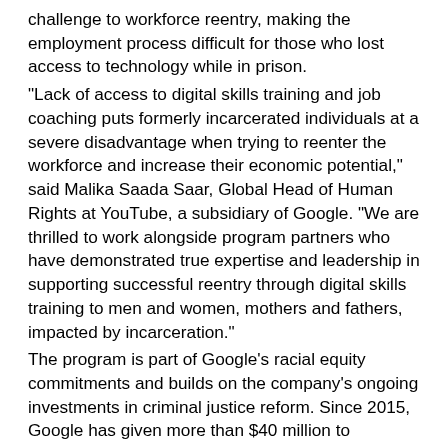challenge to workforce reentry, making the employment process difficult for those who lost access to technology while in prison.
"Lack of access to digital skills training and job coaching puts formerly incarcerated individuals at a severe disadvantage when trying to reenter the workforce and increase their economic potential," said Malika Saada Saar, Global Head of Human Rights at YouTube, a subsidiary of Google. "We are thrilled to work alongside program partners who have demonstrated true expertise and leadership in supporting successful reentry through digital skills training to men and women, mothers and fathers, impacted by incarceration."
The program is part of Google's racial equity commitments and builds on the company's ongoing investments in criminal justice reform. Since 2015, Google has given more than $40 million to nonprofits advancing criminal justice reform, and $60 million to organizations working to expand access to hands-on computer science learning.